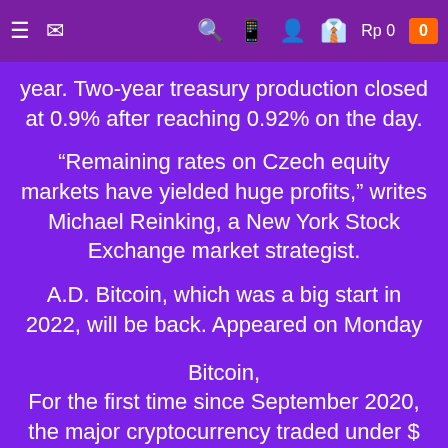≡ [whatsapp icon] [search icon] [phone icon] [user icon] [bag icon] Rp 0  0
year. Two-year treasury production closed at 0.9% after reaching 0.92% on the day.
“Remaining rates on Czech equity markets have yielded huge profits,” writes Michael Reinking, a New York Stock Exchange market strategist.
A.D. Bitcoin, which was a big start in 2022, will be back. Appeared on Monday
Bitcoin,
For the first time since September 2020, the major cryptocurrency traded under $ 40,000. It recouped losses on Tuesday and hovered over $ 42,500.